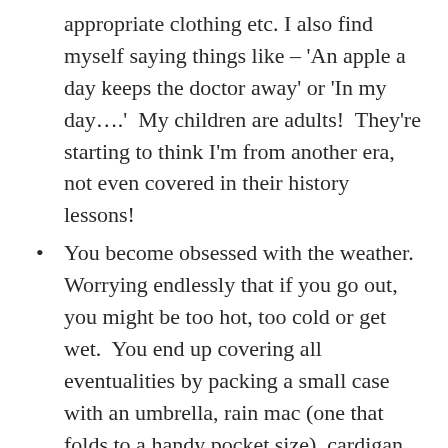appropriate clothing etc. I also find myself saying things like – 'An apple a day keeps the doctor away' or 'In my day….'  My children are adults!  They're starting to think I'm from another era, not even covered in their history lessons!
You become obsessed with the weather.  Worrying endlessly that if you go out, you might be too hot, too cold or get wet.  You end up covering all eventualities by packing a small case with an umbrella, rain mac (one that folds to a handy pocket size), cardigan, sun hat and sun cream just to go to Tesco.  It's suddenly become your main topic of conversation. You're a weather bore.   Did I tell you about the great storm